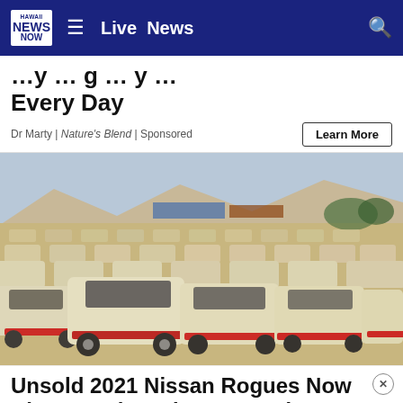Hawaii News Now — Live News
Every Day
Dr Marty | Nature's Blend | Sponsored
[Figure (photo): Large parking lot filled with rows of white Nissan vehicles parked in a desert/arid environment, viewed from behind the cars. Mountains and blue sky visible in background.]
Unsold 2021 Nissan Rogues Now Almost Being Given Away (See Prices)